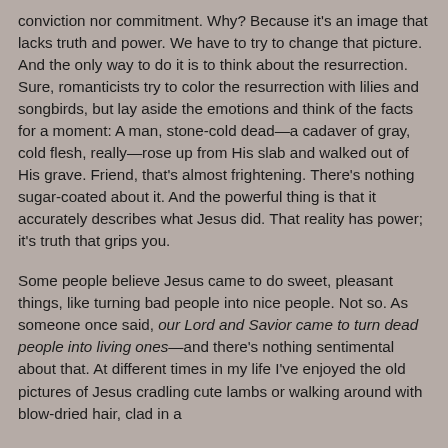conviction nor commitment. Why? Because it's an image that lacks truth and power. We have to try to change that picture. And the only way to do it is to think about the resurrection. Sure, romanticists try to color the resurrection with lilies and songbirds, but lay aside the emotions and think of the facts for a moment: A man, stone-cold dead—a cadaver of gray, cold flesh, really—rose up from His slab and walked out of His grave. Friend, that's almost frightening. There's nothing sugar-coated about it. And the powerful thing is that it accurately describes what Jesus did. That reality has power; it's truth that grips you.
Some people believe Jesus came to do sweet, pleasant things, like turning bad people into nice people. Not so. As someone once said, our Lord and Savior came to turn dead people into living ones—and there's nothing sentimental about that. At different times in my life I've enjoyed the old pictures of Jesus cradling cute lambs or walking around with blow-dried hair, clad in a